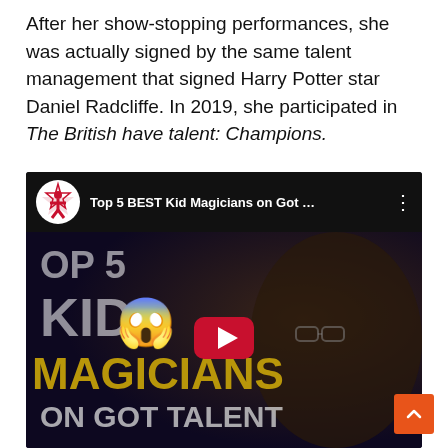After her show-stopping performances, she was actually signed by the same talent management that signed Harry Potter star Daniel Radcliffe. In 2019, she participated in The British have talent: Champions.
[Figure (screenshot): YouTube video thumbnail titled 'Top 5 BEST Kid Magicians on Got ...' showing a dark thumbnail with text 'OP 5', 'KID', a shocked face emoji, 'MAGICIANS', 'ON GOT TALENT', a YouTube play button, and a young person with glasses on the right side. Orange scroll-to-top button in bottom right corner.]